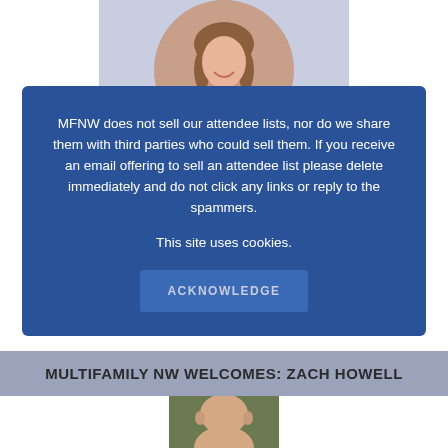[Figure (photo): Circular profile photo of a woman with brown hair, smiling, wearing a floral top, on a light purple/grey card background]
MFNW does not sell our attendee lists, nor do we share them with third parties who could sell them. If you receive an email offering to sell an attendee list please delete immediately and do not click any links or reply to the spammers.

This site uses cookies.
ACKNOWLEDGE
MULTIFAMILY NW WELCOMES: ZACH HOWELL
[Figure (photo): Partial photo of a bald man (Zach Howell) visible at the bottom of the page, cropped]